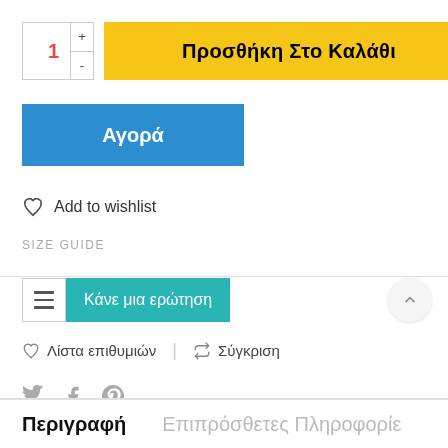[Figure (screenshot): Quantity selector box with red number 1 and +/- buttons, next to a yellow 'Προσθήκη Στο Καλάθι' (Add to Cart) button]
[Figure (screenshot): Blue 'Αγορά' (Buy) button]
Add to wishlist
SIZE GUIDE
[Figure (screenshot): Hamburger menu icon next to a teal 'Κάνε μια ερώτηση' (Ask a question) button, and a chevron-up circle button on the right]
Λίστα επιθυμιών  |  Σύγκριση
[Figure (screenshot): Social share icons: Twitter bird, Facebook f, Pinterest P]
Περιγραφή
Επιπρόσθετες Πληροφορίε